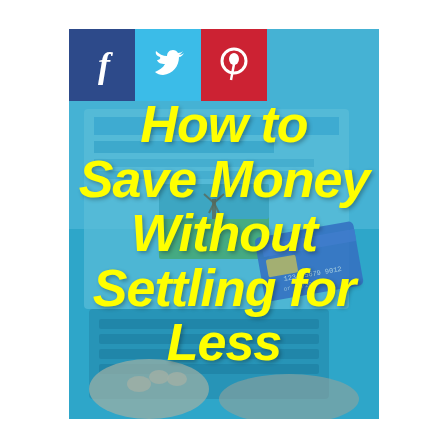[Figure (infographic): Cover image for a personal finance article. Background shows a blue-tinted photo of hands typing on a laptop with a credit card and shopping/travel website on screen. Three social media icon boxes (Facebook dark blue, Twitter light blue, Pinterest red) appear in the top-left corner. Large bold yellow italic text reads 'How to Save Money Without Settling for Less'.]
How to Save Money Without Settling for Less